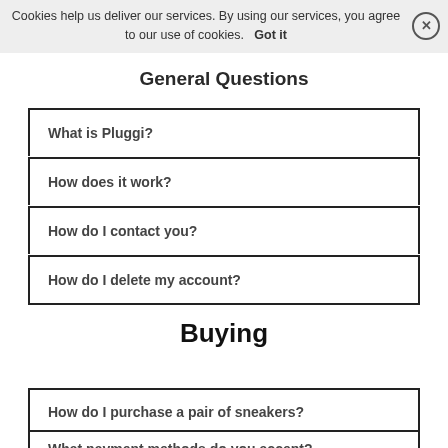Cookies help us deliver our services. By using our services, you agree to our use of cookies. Got it
General Questions
What is Pluggi?
How does it work?
How do I contact you?
How do I delete my account?
Buying
How do I purchase a pair of sneakers?
What payment methods do you accept?